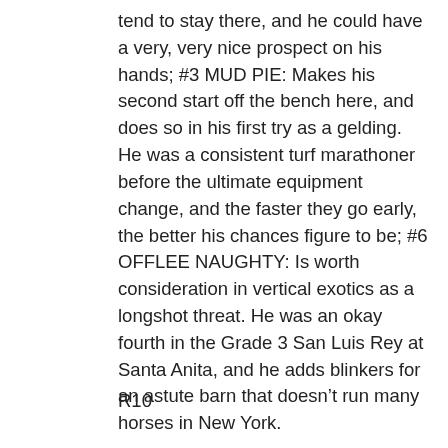tend to stay there, and he could have a very, very nice prospect on his hands; #3 MUD PIE: Makes his second start off the bench here, and does so in his first try as a gelding. He was a consistent turf marathoner before the ultimate equipment change, and the faster they go early, the better his chances figure to be; #6 OFFLEE NAUGHTY: Is worth consideration in vertical exotics as a longshot threat. He was an okay fourth in the Grade 3 San Luis Rey at Santa Anita, and he adds blinkers for an astute barn that doesn’t run many horses in New York.
R10